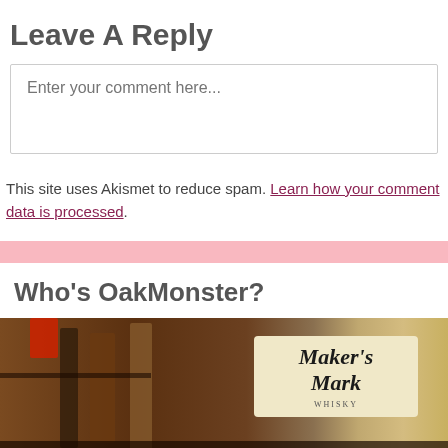Leave A Reply
Enter your comment here...
This site uses Akismet to reduce spam. Learn how your comment data is processed.
Who's OakMonster?
[Figure (photo): Photo of whisky bottles on a shelf with a Maker's Mark bottle label visible on the right side]